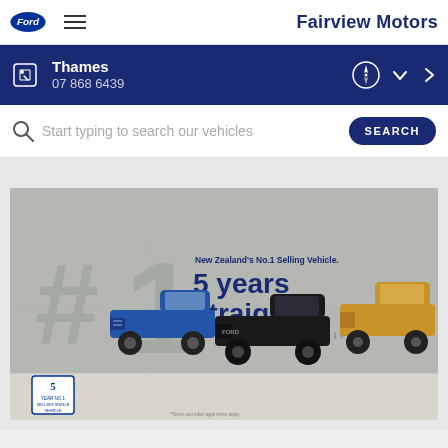Fairview Motors
Thames
07 868 6439
Start typing to search our vehicles
[Figure (photo): Ford Ranger advertisement: New Zealand's No.1 Selling Vehicle. 5 years straight. 2015 2016 2017 2018 2019. Shows three Ford Rangers (blue, black, gold) in front of a concrete wall with a large #1 emblem. Badge reads '5 year No.1 Selling Single Vehicle'.]